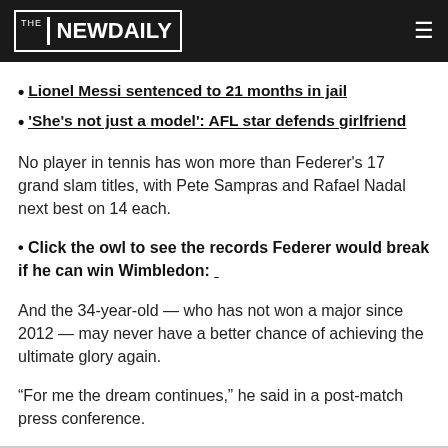THE NEW DAILY
Lionel Messi sentenced to 21 months in jail
'She's not just a model': AFL star defends girlfriend
No player in tennis has won more than Federer's 17 grand slam titles, with Pete Sampras and Rafael Nadal next best on 14 each.
• Click the owl to see the records Federer would break if he can win Wimbledon:
And the 34-year-old — who has not won a major since 2012 — may never have a better chance of achieving the ultimate glory again.
“For me the dream continues,” he said in a post-match press conference.